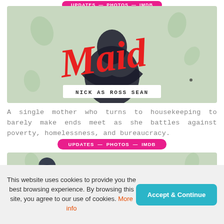UPDATES — PHOTOS — IMDB
[Figure (photo): Promotional image for 'Maid' TV show featuring a man in dark clothing with large red cursive 'Maid' title overlay. Caption reads 'NICK AS ROSS SEAN'.]
A single mother who turns to housekeeping to barely make ends meet as she battles against poverty, homelessness, and bureaucracy.
UPDATES — PHOTOS — IMDB
[Figure (photo): Partial promotional image for another show with dark blue/navy cursive text beginning with 'Ma...']
This website uses cookies to provide you the best browsing experience. By browsing this site, you agree to our use of cookies. More info